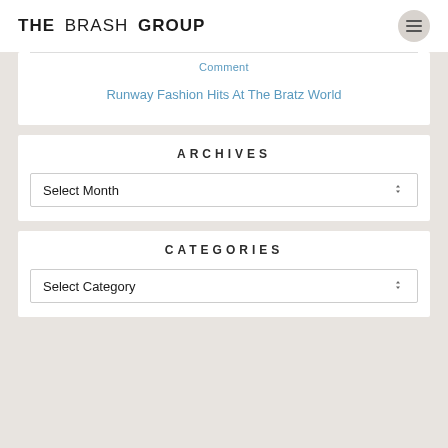THE BRASH GROUP
Comment
Runway Fashion Hits At The Bratz World
ARCHIVES
Select Month
CATEGORIES
Select Category